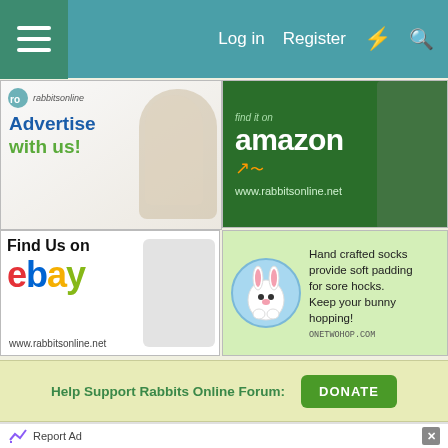Log in  Register
[Figure (screenshot): Advertise with us banner - rabbitsonline with rabbit photos]
[Figure (screenshot): Amazon banner - shop on amazon www.rabbitsonline.net with rabbit photo]
[Figure (screenshot): Find Us on eBay banner - www.rabbitsonline.net with black rabbit photo]
[Figure (screenshot): Hand crafted socks provide soft padding for sore hocks. Keep your bunny hopping! ONETWOHOP.COM - cartoon rabbit in blue circle]
Help Support Rabbits Online Forum:
DONATE
Report Ad